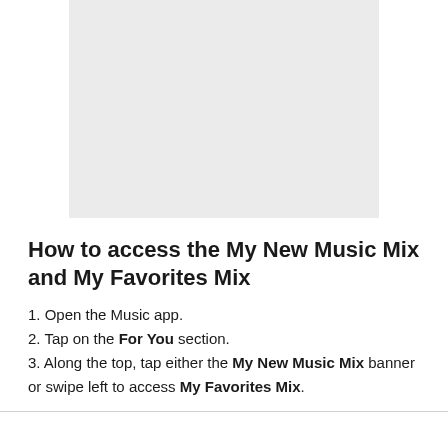[Figure (other): A grey placeholder rectangle representing a screenshot or image of the Music app interface.]
How to access the My New Music Mix and My Favorites Mix
1. Open the Music app.
2. Tap on the For You section.
3. Along the top, tap either the My New Music Mix banner or swipe left to access My Favorites Mix.